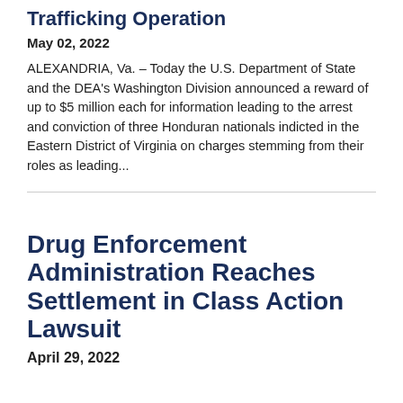Trafficking Operation
May 02, 2022
ALEXANDRIA, Va. – Today the U.S. Department of State and the DEA's Washington Division announced a reward of up to $5 million each for information leading to the arrest and conviction of three Honduran nationals indicted in the Eastern District of Virginia on charges stemming from their roles as leading...
Drug Enforcement Administration Reaches Settlement in Class Action Lawsuit
April 29, 2022